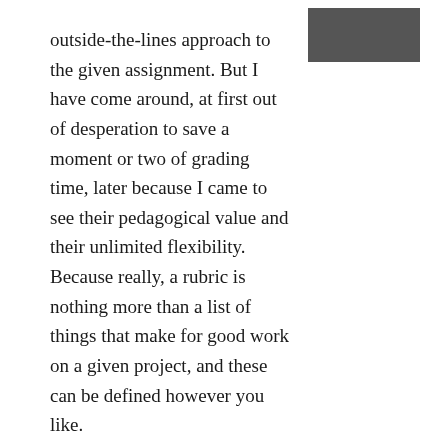[Figure (photo): A small grayscale photograph in the upper right corner of the page]
outside-the-lines approach to the given assignment. But I have come around, at first out of desperation to save a moment or two of grading time, later because I came to see their pedagogical value and their unlimited flexibility. Because really, a rubric is nothing more than a list of things that make for good work on a given project, and these can be defined however you like.
Rubric can be elaborate matrices that define multiple desired features of an assignment and assign points to varying levels of success in achieving them, or they can be as simple as a checklist of required elements. Developing a good rubric can help us clarify what we really want students to do, help us maintain consistency in evaluation, give students a sense of